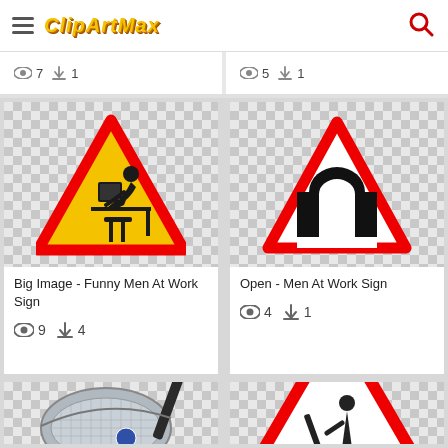ClipArtMax
👁 7  ⬇ 1
👁 5  ⬇ 1
[Figure (illustration): Warning triangle sign with silhouette of person working at a computer desk - Funny Men At Work Sign]
Big Image - Funny Men At Work Sign
👁 9  ⬇ 4
[Figure (illustration): Warning triangle road sign with tunnel/underpass symbol inside - Men At Work Sign]
Open - Men At Work Sign
👁 4  ⬇ 1
[Figure (photo): Odyssey golf putter club head - partial view]
[Figure (illustration): Red warning triangle road sign with construction/roadwork symbol - Men At Work Sign, partially visible]